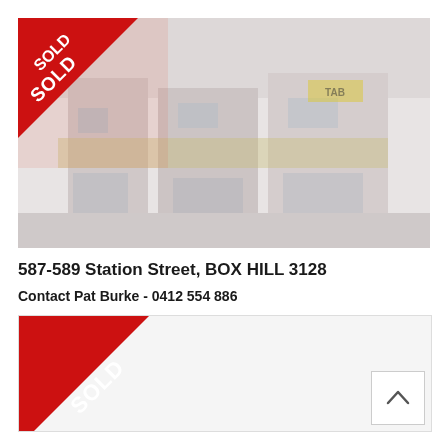[Figure (photo): Faded/washed-out street-level photo of commercial property at 587-589 Station Street, Box Hill, with a red SOLD banner overlay in the top-left corner]
587-589 Station Street, BOX HILL 3128
Contact Pat Burke - 0412 554 886
[Figure (photo): Second property image box with a large red SOLD diagonal banner in the bottom-left corner and an up-arrow navigation button in the bottom-right corner]